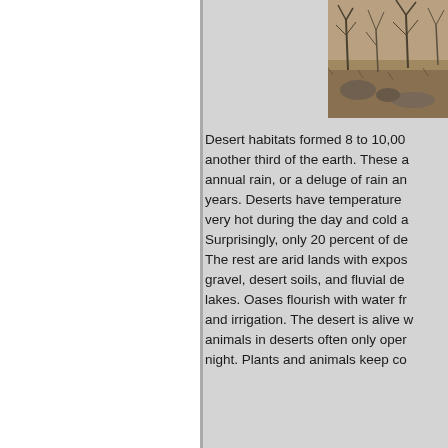[Figure (photo): Photograph of desert vegetation and rocky terrain with dry brush and shrubs on sandy/gravelly ground]
Desert habitats formed 8 to 10,00 another third of the earth. These a annual rain, or a deluge of rain an years. Deserts have temperature very hot during the day and cold a Surprisingly, only 20 percent of de The rest are arid lands with expos gravel, desert soils, and fluvial de lakes. Oases flourish with water fr and irrigation. The desert is alive w animals in deserts often only oper night. Plants and animals keep co